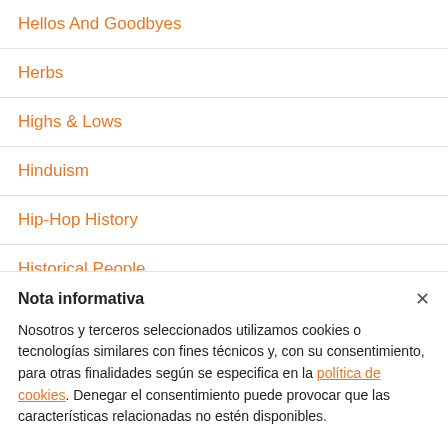Hellos And Goodbyes
Herbs
Highs & Lows
Hinduism
Hip-Hop History
Historical People
Nota informativa
Nosotros y terceros seleccionados utilizamos cookies o tecnologías similares con fines técnicos y, con su consentimiento, para otras finalidades según se especifica en la política de cookies. Denegar el consentimiento puede provocar que las características relacionadas no estén disponibles.